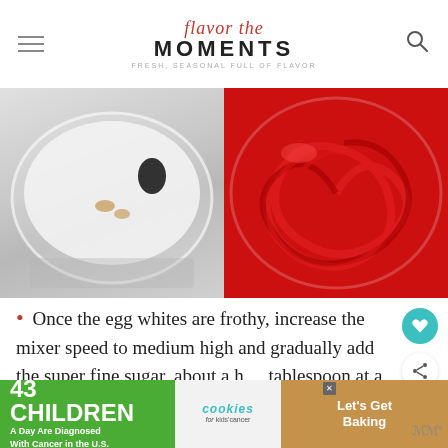flavor the MOMENTS
[Figure (photo): Two-panel collage: left panel shows a glass mixing bowl from above with white cream/egg whites and a small amount of vanilla extract (brown) and food coloring (dark); right panel shows a glass bowl from above filled with bright red frosting/cream swirled smoothly.]
Once the egg whites are frothy, increase the mixer speed to medium high and gradually add the super fine sugar, about a half tablespoon at a time, beating until the
[Figure (screenshot): WHAT'S NEXT widget showing a thumbnail of Red Velvet Cupcakes and text 'Red Velvet Cupcakes wi...']
[Figure (other): Advertisement banner: '43 CHILDREN A Day Are Diagnosed With Cancer in the U.S.' with cookies for kids' cancer logo and 'Let's Get Baking' on tan background. Close button visible. Mute icon at bottom right.]